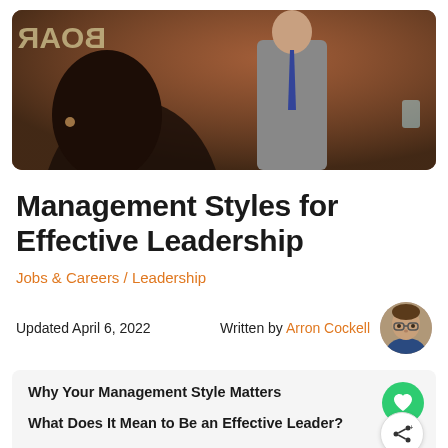[Figure (photo): Hero image showing a man in a grey suit with a tie presenting near a board, with another person in the foreground, in a meeting/boardroom setting. Text 'BOAR' partially visible on background.]
Management Styles for Effective Leadership
Jobs & Careers / Leadership
Updated April 6, 2022
Written by Arron Cockell
[Figure (photo): Circular author avatar photo of Arron Cockell, a man with glasses.]
Why Your Management Style Matters
What Does It Mean to Be an Effective Leader?
What Are the Most Useful Management Styles